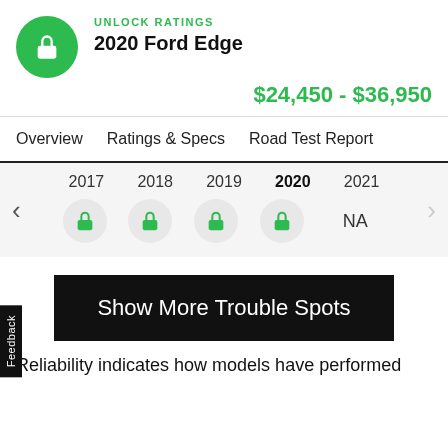UNLOCK RATINGS
2020 Ford Edge
$24,450 - $36,950
Overview   Ratings & Specs   Road Test Report
[Figure (infographic): Year selector showing 2017, 2018, 2019, 2020 (selected/bold), 2021 with lock icons for 2017-2020 and NA for 2021, with left and right navigation arrows]
Show More Trouble Spots
Reliability indicates how models have performed